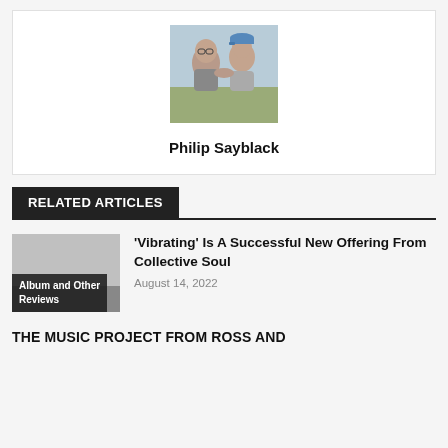[Figure (photo): Photo of Philip Sayblack — two people outdoors, one wearing a blue visor cap]
Philip Sayblack
RELATED ARTICLES
[Figure (photo): Thumbnail image for article with label 'Album and Other Reviews']
'Vibrating' Is A Successful New Offering From Collective Soul
August 14, 2022
THE MUSIC PROJECT FROM ROSS AND